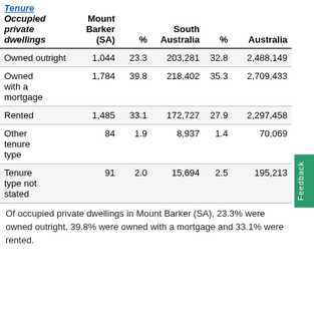| Occupied private dwellings | Mount Barker (SA) | % | South Australia | % | Australia |
| --- | --- | --- | --- | --- | --- |
| Owned outright | 1,044 | 23.3 | 203,281 | 32.8 | 2,488,149 | 3… |
| Owned with a mortgage | 1,784 | 39.8 | 218,402 | 35.3 | 2,709,433 | 3… |
| Rented | 1,485 | 33.1 | 172,727 | 27.9 | 2,297,458 | 2… |
| Other tenure type | 84 | 1.9 | 8,937 | 1.4 | 70,069 |  |
| Tenure type not stated | 91 | 2.0 | 15,694 | 2.5 | 195,213 |  |
Of occupied private dwellings in Mount Barker (SA), 23.3% were owned outright, 39.8% were owned with a mortgage and 33.1% were rented.